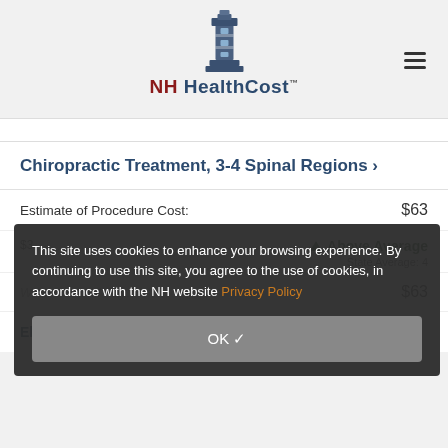[Figure (logo): NH HealthCost logo with lighthouse icon and trademark symbol]
Chiropractic Treatment, 3-4 Spinal Regions >
Estimate of Procedure Cost: $63
Above Average State Average: 4
What You Will Pay: $63
This site uses cookies to enhance your browsing experience. By continuing to use this site, you agree to the use of cookies, in accordance with the NH website Privacy Policy
OK ✓
Electrical Stimulation Therapy >